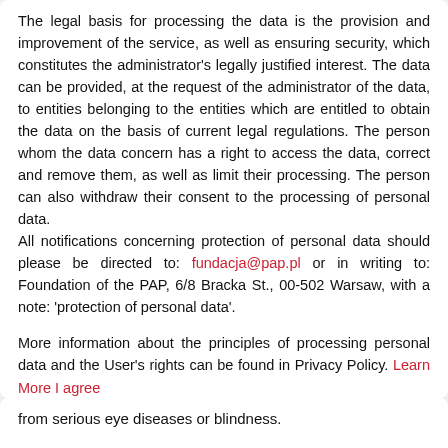The legal basis for processing the data is the provision and improvement of the service, as well as ensuring security, which constitutes the administrator's legally justified interest. The data can be provided, at the request of the administrator of the data, to entities belonging to the entities which are entitled to obtain the data on the basis of current legal regulations. The person whom the data concern has a right to access the data, correct and remove them, as well as limit their processing. The person can also withdraw their consent to the processing of personal data. All notifications concerning protection of personal data should please be directed to: fundacja@pap.pl or in writing to: Foundation of the PAP, 6/8 Bracka St., 00-502 Warsaw, with a note: 'protection of personal data'.
More information about the principles of processing personal data and the User's rights can be found in Privacy Policy. Learn More I agree
from serious eye diseases or blindness.